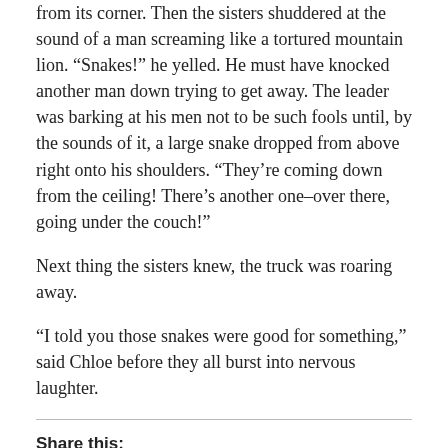from its corner. Then the sisters shuddered at the sound of a man screaming like a tortured mountain lion. “Snakes!” he yelled. He must have knocked another man down trying to get away. The leader was barking at his men not to be such fools until, by the sounds of it, a large snake dropped from above right onto his shoulders. “They’re coming down from the ceiling! There’s another one–over there, going under the couch!”
Next thing the sisters knew, the truck was roaring away.
“I told you those snakes were good for something,” said Chloe before they all burst into nervous laughter.
Share this:
Twitter
Facebook